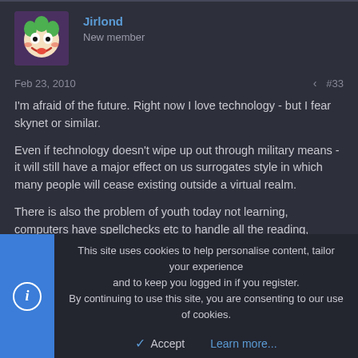Jirlond | New member
Feb 23, 2010  #33
I'm afraid of the future. Right now I love technology - but I fear skynet or similar.

Even if technology doesn't wipe up out through military means - it will still have a major effect on us surrogates style in which many people will cease existing outside a virtual realm.

There is also the problem of youth today not learning, computers have spellchecks etc to handle all the reading, writing and arithmetic means.
This site uses cookies to help personalise content, tailor your experience and to keep you logged in if you register.
By continuing to use this site, you are consenting to our use of cookies.
Accept  Learn more...